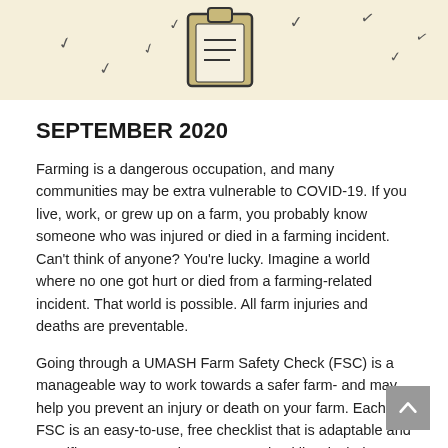[Figure (illustration): Illustrated banner with a checklist/clipboard icon on a light beige/yellow background with small checkmark symbols scattered around it]
SEPTEMBER 2020
Farming is a dangerous occupation, and many communities may be extra vulnerable to COVID-19. If you live, work, or grew up on a farm, you probably know someone who was injured or died in a farming incident. Can’t think of anyone? You’re lucky. Imagine a world where no one got hurt or died from a farming-related incident. That world is possible. All farm injuries and deaths are preventable.
Going through a UMASH Farm Safety Check (FSC) is a manageable way to work towards a safer farm- and may help you prevent an injury or death on your farm. Each FSC is an easy-to-use, free checklist that is adaptable and specific to your operation. Over 10 checklists include